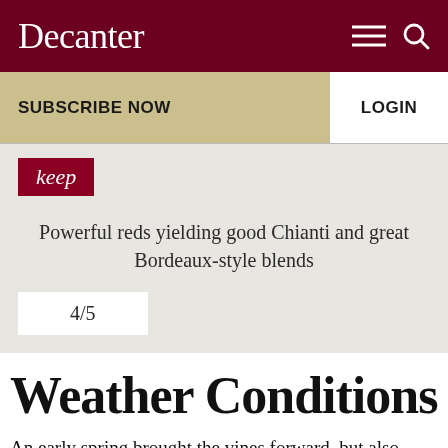Decanter
SUBSCRIBE NOW
LOGIN
keep
Powerful reds yielding good Chianti and great Bordeaux-style blends
4/5
Weather Conditions
An early spring brought the vines forward, but also